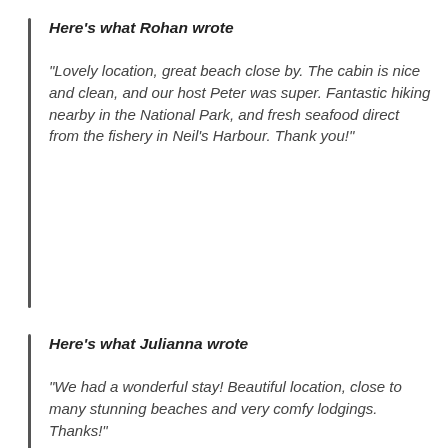Here's what Rohan wrote
“Lovely location, great beach close by. The cabin is nice and clean, and our host Peter was super. Fantastic hiking nearby in the National Park, and fresh seafood direct from the fishery in Neil’s Harbour. Thank you!”
Here’s what Julianna wrote
“We had a wonderful stay! Beautiful location, close to many stunning beaches and very comfy lodgings. Thanks!”
Here’s what David wrote
“Breathtakingly beautiful spot with gorgeous view over looking the bay and the ocean. The beach is only a 15 minute walk from the house. The house had absolutely everything you need to cook and to be comfortable. AC, Wi Fi, even a screened deck to